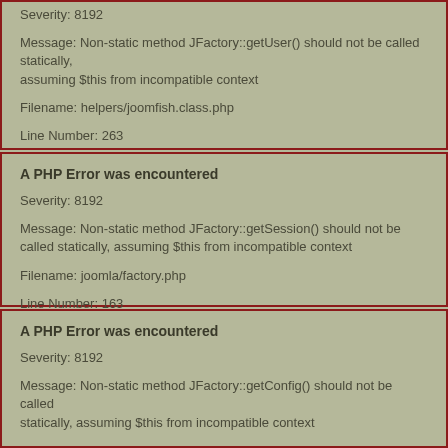Severity: 8192
Message: Non-static method JFactory::getUser() should not be called statically, assuming $this from incompatible context
Filename: helpers/joomfish.class.php
Line Number: 263
A PHP Error was encountered
Severity: 8192
Message: Non-static method JFactory::getSession() should not be called statically, assuming $this from incompatible context
Filename: joomla/factory.php
Line Number: 163
A PHP Error was encountered
Severity: 8192
Message: Non-static method JFactory::getConfig() should not be called statically, assuming $this from incompatible context